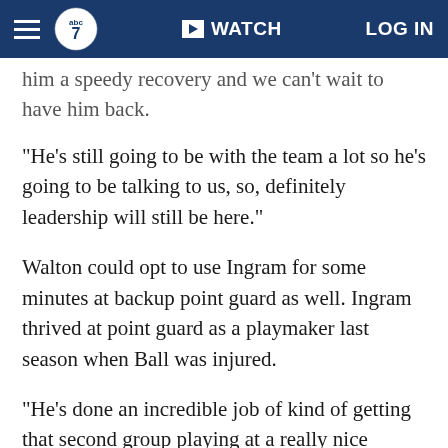ABC7 | WATCH | LOG IN
him a speedy recovery and we can't wait to have him back.
"He's still going to be with the team a lot so he's going to be talking to us, so, definitely leadership will still be here."
Walton could opt to use Ingram for some minutes at backup point guard as well. Ingram thrived at point guard as a playmaker last season when Ball was injured.
"He's done an incredible job of kind of getting that second group playing at a really nice rhythm for us," Walton said of Rondo. "And the way he orchestrates a